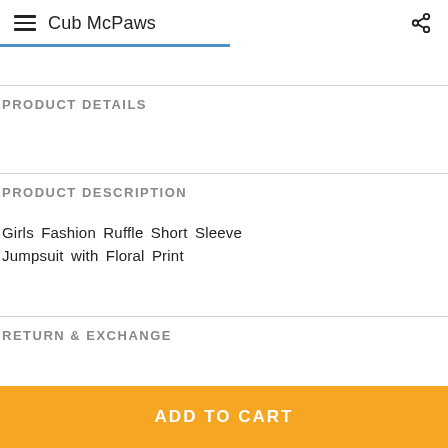Cub McPaws
PRODUCT DETAILS
PRODUCT DESCRIPTION
Girls Fashion Ruffle Short Sleeve Jumpsuit with Floral Print
RETURN & EXCHANGE
ADD TO CART